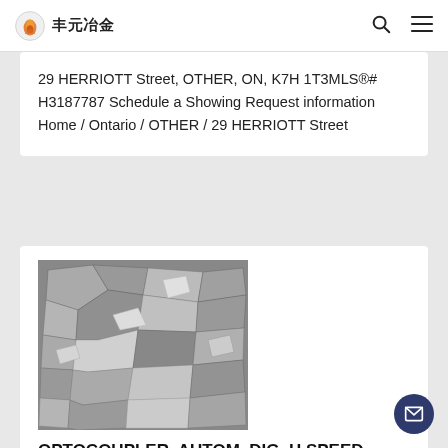丰元冶金
29 HERRIOTT Street, OTHER, ON, K7H 1T3MLS®# H3187787 Schedule a Showing Request information Home / Ontario / OTHER / 29 HERRIOTT Street
[Figure (photo): Black and white photo of metallic ore or aggregate mineral chunks/gravel pieces]
OPTOCOUPLER, AUTOM. DIG. H SPEED, 1.1KV - ACPL-K71T-000E
2013620-Toggle Top Menu High Quality